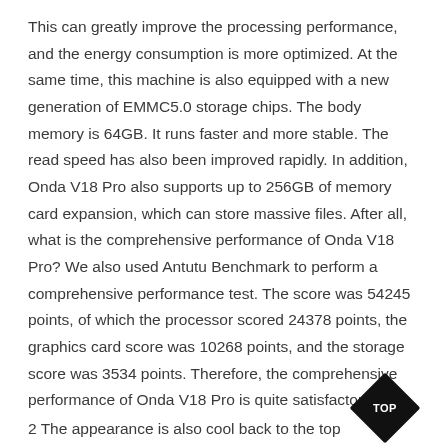This can greatly improve the processing performance, and the energy consumption is more optimized. At the same time, this machine is also equipped with a new generation of EMMC5.0 storage chips. The body memory is 64GB. It runs faster and more stable. The read speed has also been improved rapidly. In addition, Onda V18 Pro also supports up to 256GB of memory card expansion, which can store massive files. After all, what is the comprehensive performance of Onda V18 Pro? We also used Antutu Benchmark to perform a comprehensive performance test. The score was 54245 points, of which the processor scored 24378 points, the graphics card score was 10268 points, and the storage score was 3534 points. Therefore, the comprehensive performance of Onda V18 Pro is quite satisfactory.
2 The appearance is also cool back to the top
The appearance is also cool